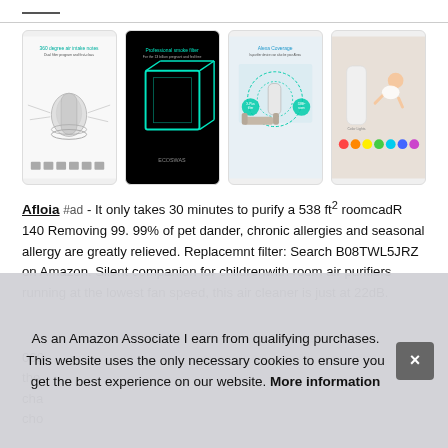[Figure (photo): Four product images of an air purifier: 1) White air purifier with filter exploded view and 360 degree air intake labels, 2) Black background showing professional smoke filter with green lighting, 3) White air purifier showing Alexa coverage area in room, 4) Air purifier with colorful RGB lights and a crawling baby in background.]
Afloia #ad - It only takes 30 minutes to purify a 538 ft² roomcadR 140 Removing 99. 99% of pet dander, chronic allergies and seasonal allergy are greatly relieved. Replacemnt filter: Search B08TWL5JRZ on Amazon. Silent companion for childrenwith room air purifiers running at the lowest fan speed, this air cleaner is just at 22dB.
069 the cha cho
As an Amazon Associate I earn from qualifying purchases. This website uses the only necessary cookies to ensure you get the best experience on our website. More information